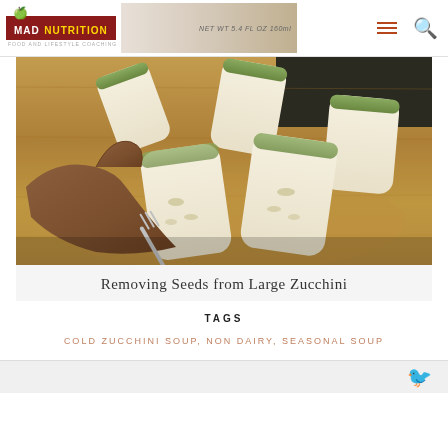MAD NUTRITION | Food and Lifestyle Coaching
[Figure (photo): A hand removing seeds from large zucchini cut into pieces on a wooden cutting board, using a fork. The zucchini pieces show the white flesh and seeds.]
Removing Seeds from Large Zucchini
TAGS
COLD ZUCCHINI SOUP, NON DAIRY, SEASONAL SOUP